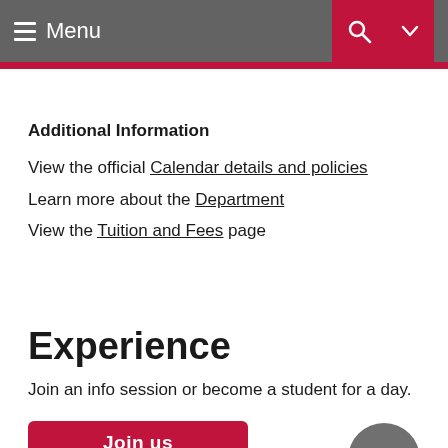Menu
Additional Information
View the official Calendar details and policies
Learn more about the Department
View the Tuition and Fees page
Experience
Join an info session or become a student for a day.